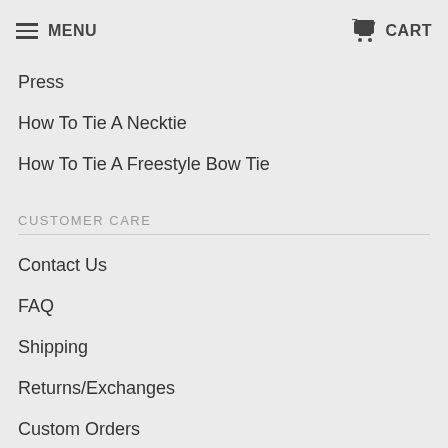MENU  CART
Press
How To Tie A Necktie
How To Tie A Freestyle Bow Tie
CUSTOMER CARE
Contact Us
FAQ
Shipping
Returns/Exchanges
Custom Orders
NEWS & UPDATES
Sign up to get the latest on sales, new releases and more...